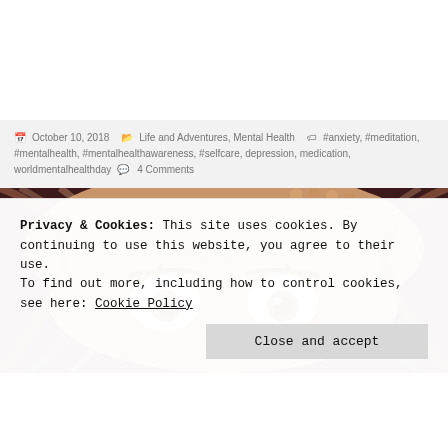October 10, 2018  Life and Adventures, Mental Health  #anxiety, #meditation, #mentalhealth, #mentalhealthawareness, #selfcare, depression, medication, worldmentalhealthday  4 Comments
[Figure (illustration): Close-up illustrated/painted image of a person's wide, startled eyes with hands pressed on forehead, painted in a stylized manner with brown and reddish tones.]
Privacy & Cookies: This site uses cookies. By continuing to use this website, you agree to their use.
To find out more, including how to control cookies, see here: Cookie Policy
Close and accept